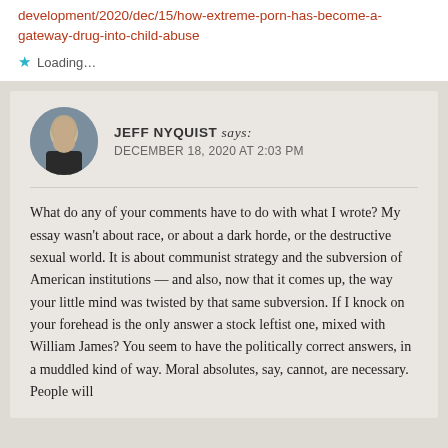development/2020/dec/15/how-extreme-porn-has-become-a-gateway-drug-into-child-abuse
Loading...
JEFF NYQUIST says: DECEMBER 18, 2020 AT 2:03 PM
What do any of your comments have to do with what I wrote? My essay wasn't about race, or about a dark horde, or the destructive sexual world. It is about communist strategy and the subversion of American institutions — and also, now that it comes up, the way your little mind was twisted by that same subversion. If I knock on your forehead is the only answer a stock leftist one, mixed with William James? You seem to have the politically correct answers, in a muddled kind of way. Moral absolutes, say, cannot, are necessary. People will